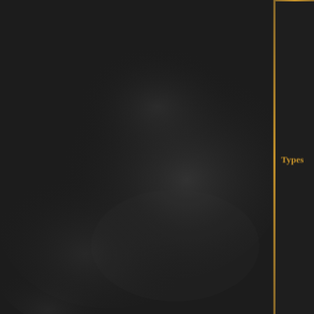[Figure (illustration): Dark atmospheric background with smoky fog texture on the left panel]
Types
Goatman · Golem (Rock golem · Fire golem · Ice golem) · Hellion · Lurcher · Maw · Miscreation · Necromancer · Retch · Rhoa · Ribbon · Sand Spitter · Sea Witch · Shield Crab · Skeleton · Skeletal Archer · Skeletal Mage · Snake · Spider · Spiker · Statue · Totem · Undying · Ursa (Plummeting ursa · Gargantuan) · Voidbearer · Watcher · Wheel skeleton · Zombie Merveil · Vaal Oversoul · Dominus · Malachai · Avarius